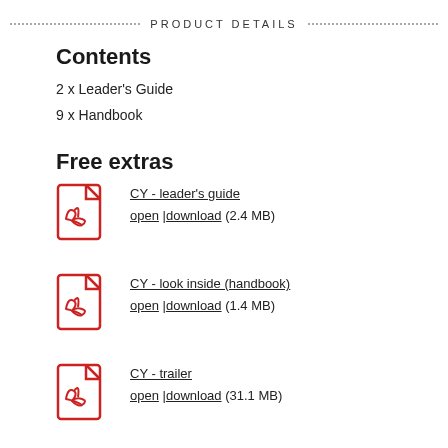PRODUCT DETAILS
Contents
2 x Leader's Guide
9 x Handbook
Free extras
[Figure (illustration): PDF file icon (red)]
CY - leader's guide
open | download (2.4 MB)
[Figure (illustration): PDF file icon (red)]
CY - look inside (handbook)
open | download (1.4 MB)
[Figure (illustration): PDF file icon (red)]
CY - trailer
open | download (31.1 MB)